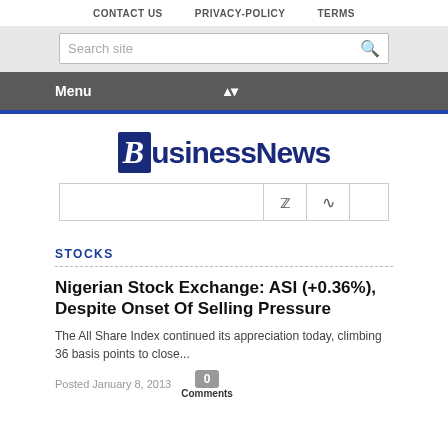CONTACT US   PRIVACY-POLICY   TERMS
[Figure (logo): BusinessNews logo with stylized B in dark blue box]
[Figure (screenshot): Social media bar with Twitter and RSS icons]
STOCKS
Nigerian Stock Exchange: ASI (+0.36%), Despite Onset Of Selling Pressure
The All Share Index continued its appreciation today, climbing 36 basis points to close...
Posted January 8, 2013
0 Comments